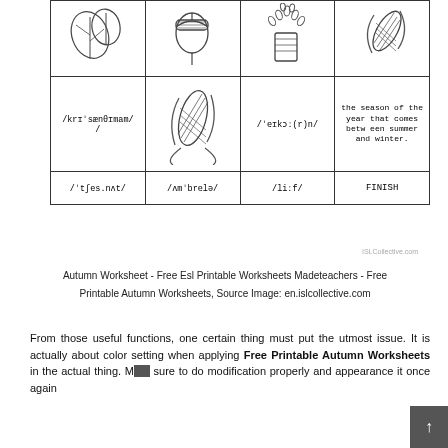[Figure (illustration): Worksheet grid table with autumn-themed illustrations (leaves, acorn, popcorn/seeds, corn) in top row, and phonetic transcriptions with corn illustration and definitions in lower rows. Bottom row shows phonetic words and FINISH.]
Autumn Worksheet - Free Esl Printable Worksheets Madeteachers - Free Printable Autumn Worksheets, Source Image: en.islcollective.com
From those useful functions, one certain thing must put the utmost issue. It is actually about color setting when applying Free Printable Autumn Worksheets in the actual thing. Make sure to do modification properly and appearance it once again